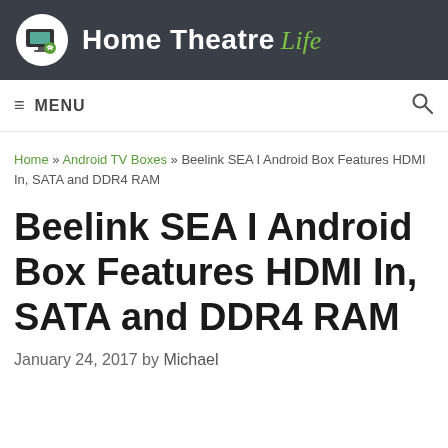Home Theatre Life
≡ MENU
Home » Android TV Boxes » Beelink SEA I Android Box Features HDMI In, SATA and DDR4 RAM
Beelink SEA I Android Box Features HDMI In, SATA and DDR4 RAM
January 24, 2017 by Michael